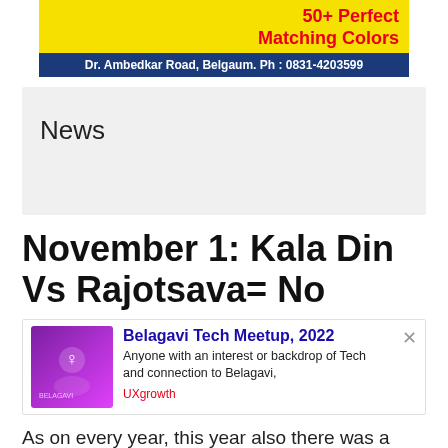[Figure (photo): Advertisement banner for a clothing/fashion store. Yellow background at top with text '50+ Perfect Matching Colors' in red/bold. Blue bar at bottom: 'Dr. Ambedkar Road, Belgaum. Ph : 0831-4203599'. Shows women's legs with colorful clothes and high heels.]
News
November 1: Kala Din Vs Rajotsava= No
[Figure (screenshot): Popup card for Belagavi Tech Meetup, 2022 with purple gradient image on left. Title in blue: 'Belagavi Tech Meetup, 2022'. Description: 'Anyone with an interest or backdrop of Tech and connection to Belagavi,'. Tag: 'UXgrowth' in red.]
As on every year, this year also there was a